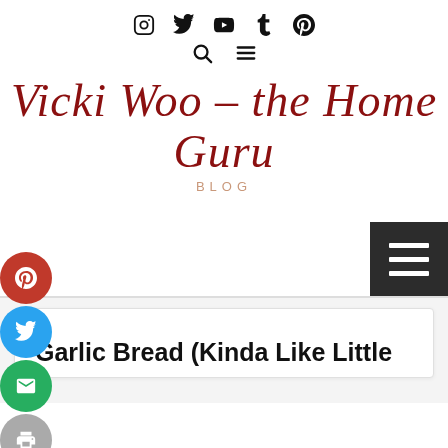Social media icons: Instagram, Twitter, YouTube, Tumblr, Pinterest; Search and Menu icons
Vicki Woo – the Home Guru BLOG
[Figure (other): Sidebar social share buttons: Pinterest (red), Twitter (blue), Email (green), Print (gray), Facebook (dark blue)]
[Figure (other): Hamburger menu button (dark background, three white lines)]
Garlic Bread (Kinda Like Little